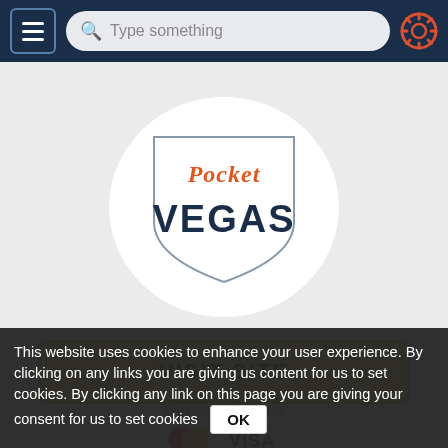Navigation bar with menu button, search bar (Type something), and settings gear icon
[Figure (logo): Pocket Vegas casino logo — shield shape with 'Pocket' in orange script and 'VEGAS' in large dark blue bold letters, inside a white circle]
VISIT SITE
Deposit Options
[Figure (other): Payment method icons: Mastercard and Visa logos]
This website uses cookies to enhance your user experience. By clicking on any links you are giving us content for us to set cookies. By clicking any link on this page you are giving your consent for us to set cookies
OK